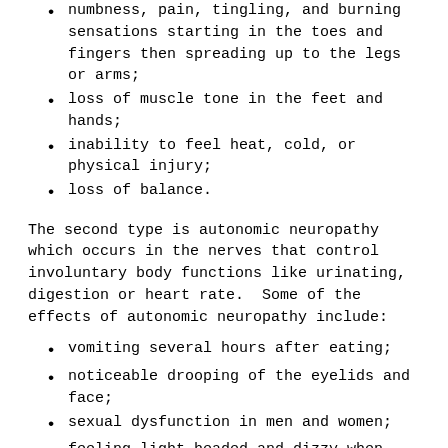numbness, pain, tingling, and burning sensations starting in the toes and fingers then spreading up to the legs or arms;
loss of muscle tone in the feet and hands;
inability to feel heat, cold, or physical injury;
loss of balance.
The second type is autonomic neuropathy which occurs in the nerves that control involuntary body functions like urinating, digestion or heart rate.  Some of the effects of autonomic neuropathy include:
vomiting several hours after eating;
noticeable drooping of the eyelids and face;
sexual dysfunction in men and women;
feeling light-headed and dizzy when standing;
nausea, diarrhea or constipation;
heartburn and bloating;
feeling full after eating even small amounts;
excessive sweating, even in cool temperatures or while at rest;
difficulties with speaking or swallowing;